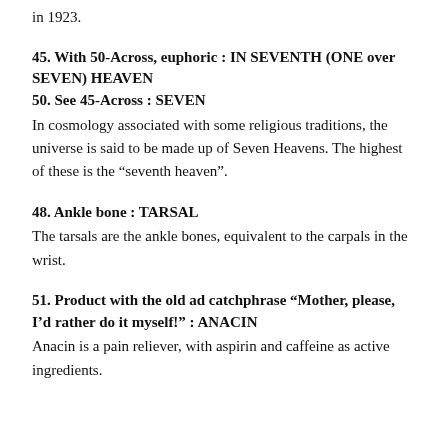in 1923.
45. With 50-Across, euphoric : IN SEVENTH (ONE over SEVEN) HEAVEN
50. See 45-Across : SEVEN
In cosmology associated with some religious traditions, the universe is said to be made up of Seven Heavens. The highest of these is the “seventh heaven”.
48. Ankle bone : TARSAL
The tarsals are the ankle bones, equivalent to the carpals in the wrist.
51. Product with the old ad catchphrase “Mother, please, I’d rather do it myself!” : ANACIN
Anacin is a pain reliever, with aspirin and caffeine as active ingredients.